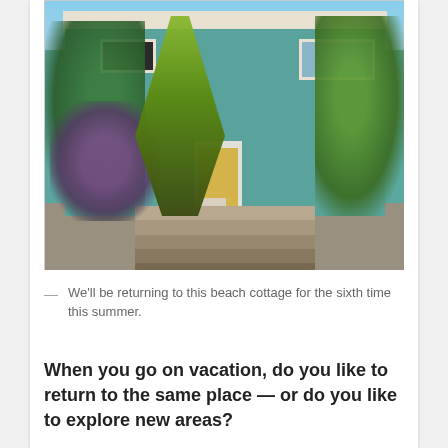[Figure (photo): A teal/turquoise two-story beach cottage with a yellow front door, surrounded by lush tropical vegetation including banana plants and purple flowering shrubs, with stone steps leading up to the entrance.]
— We'll be returning to this beach cottage for the sixth time this summer.
When you go on vacation, do you like to return to the same place — or do you like to explore new areas?